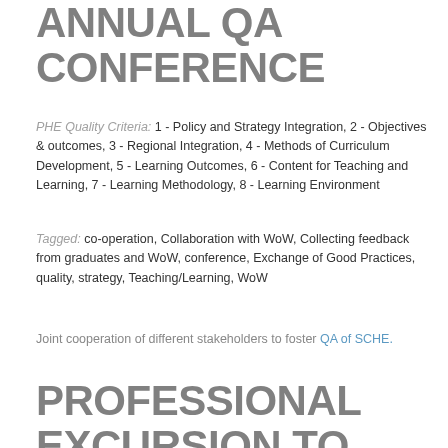ANNUAL QA CONFERENCE
PHE Quality Criteria: 1 - Policy and Strategy Integration, 2 - Objectives & outcomes, 3 - Regional Integration, 4 - Methods of Curriculum Development, 5 - Learning Outcomes, 6 - Content for Teaching and Learning, 7 - Learning Methodology, 8 - Learning Environment
Tagged: co-operation, Collaboration with WoW, Collecting feedback from graduates and WoW, conference, Exchange of Good Practices, quality, strategy, Teaching/Learning, WoW
Joint cooperation of different stakeholders to foster QA of SCHE.
PROFESSIONAL EXCURSION TO